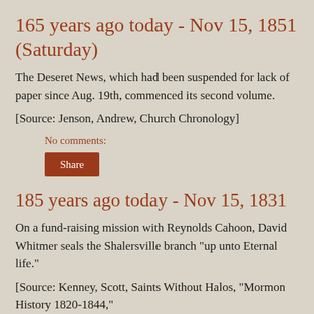165 years ago today - Nov 15, 1851 (Saturday)
The Deseret News, which had been suspended for lack of paper since Aug. 19th, commenced its second volume.
[Source: Jenson, Andrew, Church Chronology]
No comments:
Share
185 years ago today - Nov 15, 1831
On a fund-raising mission with Reynolds Cahoon, David Whitmer seals the Shalersville branch "up unto Eternal life."
[Source: Kenney, Scott, Saints Without Halos, "Mormon History 1820-1844,"